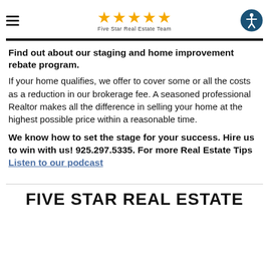Five Star Real Estate Team
Find out about our staging and home improvement rebate program.
If your home qualifies, we offer to cover some or all the costs as a reduction in our brokerage fee. A seasoned professional Realtor makes all the difference in selling your home at the highest possible price within a reasonable time.
We know how to set the stage for your success. Hire us to win with us! 925.297.5335. For more Real Estate Tips Listen to our podcast
FIVE STAR REAL ESTATE